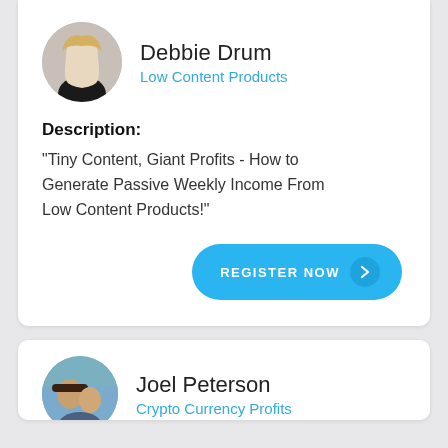[Figure (photo): Circular avatar photo of Debbie Drum, a woman with blonde hair wearing a black top]
Debbie Drum
Low Content Products
Description:
"Tiny Content, Giant Profits - How to Generate Passive Weekly Income From Low Content Products!"
REGISTER NOW
[Figure (photo): Circular avatar photo of Joel Peterson, a man with a hat posing with a woman, beach background]
Joel Peterson
Crypto Currency Profits